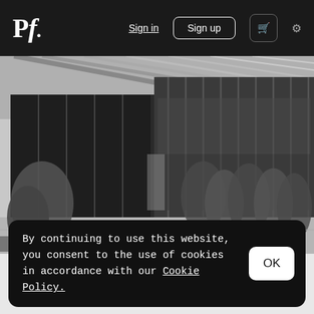Pf. | Sign in | Sign up | [cart] [settings]
[Figure (photo): Black and white architectural photograph of a modern building with large glass curtain walls and vertical steel elements, with trees visible in the foreground courtyard area.]
by Antonio Ribeiro
By continuing to use this website, you consent to the use of cookies in accordance with our Cookie Policy.